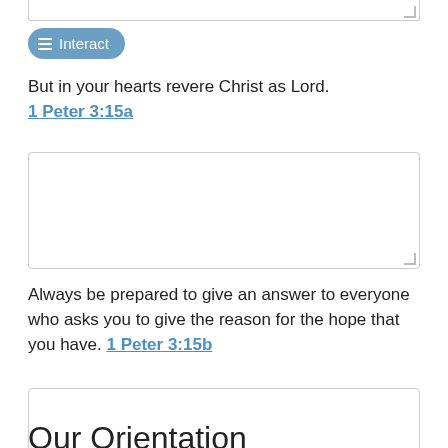[Figure (screenshot): Partial input text box from previous section visible at top of page]
≡ Interact
But in your hearts revere Christ as Lord. 1 Peter 3:15a
[Figure (screenshot): Empty text input/response box with resize handle]
Always be prepared to give an answer to everyone who asks you to give the reason for the hope that you have. 1 Peter 3:15b
[Figure (screenshot): Empty text input/response box with resize handle]
Our Orientation